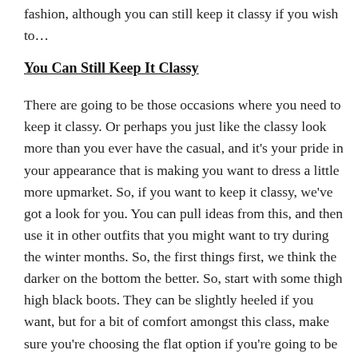fashion, although you can still keep it classy if you wish to…
You Can Still Keep It Classy
There are going to be those occasions where you need to keep it classy. Or perhaps you just like the classy look more than you ever have the casual, and it's your pride in your appearance that is making you want to dress a little more upmarket. So, if you want to keep it classy, we've got a look for you. You can pull ideas from this, and then use it in other outfits that you might want to try during the winter months. So, the first things first, we think the darker on the bottom the better. So, start with some thigh high black boots. They can be slightly heeled if you want, but for a bit of comfort amongst this class, make sure you're choosing the flat option if you're going to be doing a lot of walking. Then, we think you should go for a cream jumper dress. This look does look incredible. It's sophisticated, but it doesn't necessarily have to be worn to a special occasion. To accessorise, we think red diamonds would look really great to contrast against…